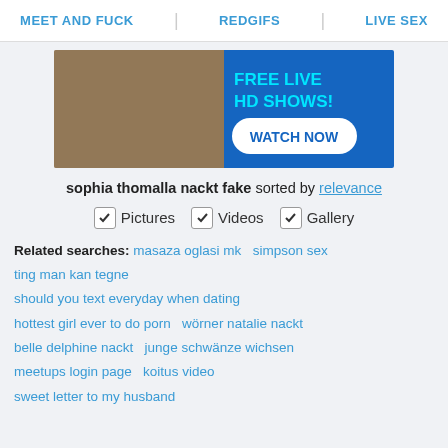MEET AND FUCK | REDGIFS | LIVE SEX
[Figure (photo): Advertisement banner for live HD shows with a woman in pink lingerie on the left and blue background with cyan text 'FREE LIVE HD SHOWS!' and white button 'WATCH NOW' on the right]
sophia thomalla nackt fake sorted by relevance
✓ Pictures  ✓ Videos  ✓ Gallery
Related searches: masaza oglasi mk  simpson sex  ting man kan tegne  should you text everyday when dating  hottest girl ever to do porn  wörner natalie nackt  belle delphine nackt  junge schwänze wichsen  meetups login page  koitus video  sweet letter to my husband